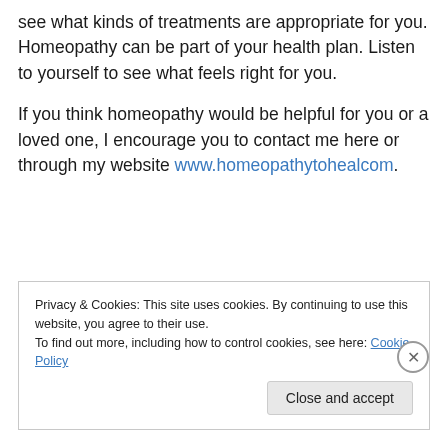see what kinds of treatments are appropriate for you. Homeopathy can be part of your health plan. Listen to yourself to see what feels right for you.
If you think homeopathy would be helpful for you or a loved one, I encourage you to contact me here or through my website www.homeopathytohealcom.
Privacy & Cookies: This site uses cookies. By continuing to use this website, you agree to their use. To find out more, including how to control cookies, see here: Cookie Policy